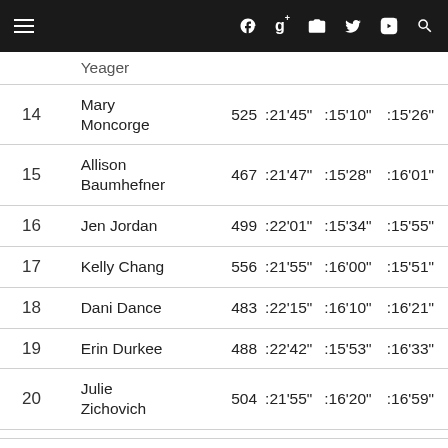Navigation bar with menu, Facebook, Google+, camera, Twitter, YouTube, search icons
| Place | Name | Bib | Col1 | Col2 | Col3 |
| --- | --- | --- | --- | --- | --- |
|  | Yeager |  |  |  |  |
| 14 | Mary Moncorge | 525 | :21'45" | :15'10" | :15'26" |
| 15 | Allison Baumhefner | 467 | :21'47" | :15'28" | :16'01" |
| 16 | Jen Jordan | 499 | :22'01" | :15'34" | :15'55" |
| 17 | Kelly Chang | 556 | :21'55" | :16'00" | :15'51" |
| 18 | Dani Dance | 483 | :22'15" | :16'10" | :16'21" |
| 19 | Erin Durkee | 488 | :22'42" | :15'53" | :16'33" |
| 20 | Julie Zichovich | 504 | :21'55" | :16'20" | :16'59" |